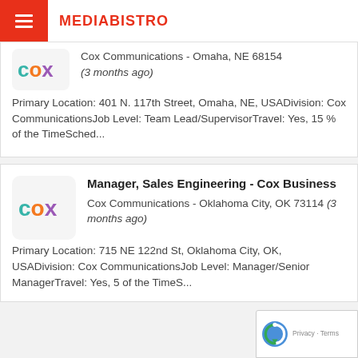MEDIABISTRO
Cox Communications - Omaha, NE 68154 (3 months ago)
Primary Location: 401 N. 117th Street, Omaha, NE, USADivision: Cox CommunicationsJob Level: Team Lead/SupervisorTravel: Yes, 15 % of the TimeSched...
Manager, Sales Engineering - Cox Business
Cox Communications - Oklahoma City, OK 73114 (3 months ago)
Primary Location: 715 NE 122nd St, Oklahoma City, OK, USADivision: Cox CommunicationsJob Level: Manager/Senior ManagerTravel: Yes, 5 of the TimeS...